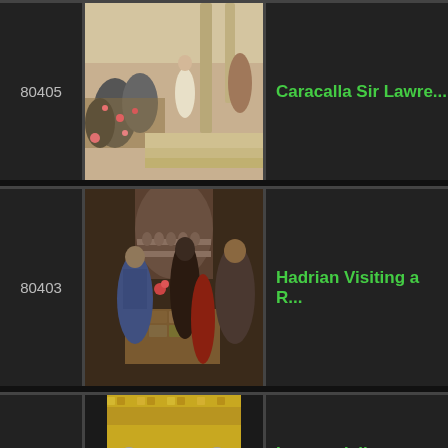| ID | Image | Title |
| --- | --- | --- |
| 80405 | [painting: Caracalla scene] | Caracalla Sir Lawrence... |
| 80403 | [painting: Hadrian visiting] | Hadrian Visiting a R... |
| 92058 | [painting: church interior] | Interno della chiesa... Clemente |
| ... | [painting: partial] | ... |